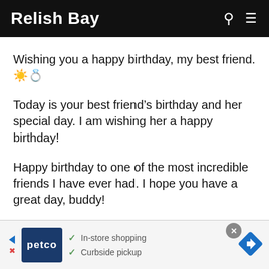Relish Bay
Wishing you a happy birthday, my best friend. ☀️💍
Today is your best friend's birthday and her special day. I am wishing her a happy birthday!
Happy birthday to one of the most incredible friends I have ever had. I hope you have a great day, buddy!
Today is the day to promise yourself and
[Figure (screenshot): Advertisement banner for Petco with logo, In-store shopping and Curbside pickup checkmarks, and a navigation arrow icon]